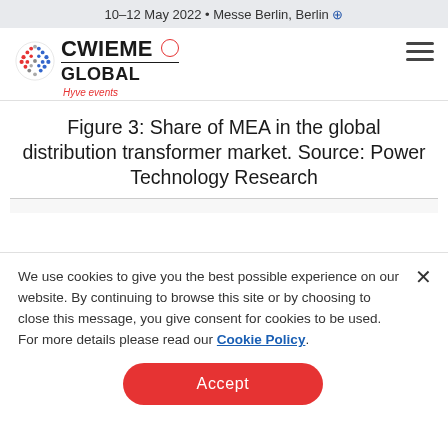10–12 May 2022 • Messe Berlin, Berlin
[Figure (logo): CWIEME Global logo with colorful globe icon and Hyve events tagline, plus hamburger menu icon]
Figure 3: Share of MEA in the global distribution transformer market. Source: Power Technology Research
We use cookies to give you the best possible experience on our website. By continuing to browse this site or by choosing to close this message, you give consent for cookies to be used. For more details please read our Cookie Policy.
Accept